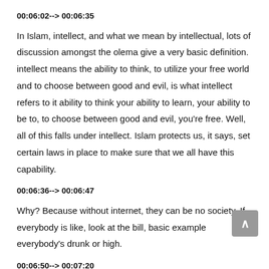00:06:02--> 00:06:35
In Islam, intellect, and what we mean by intellectual, lots of discussion amongst the olema give a very basic definition. intellect means the ability to think, to utilize your free world and to choose between good and evil, is what intellect refers to it ability to think your ability to learn, your ability to be to, to choose between good and evil, you're free. Well, all of this falls under intellect. Islam protects us, it says, set certain laws in place to make sure that we all have this capability.
00:06:36--> 00:06:47
Why? Because without internet, they can be no society. If everybody is like, look at the bill, basic example everybody's drunk or high.
00:06:50--> 00:07:20